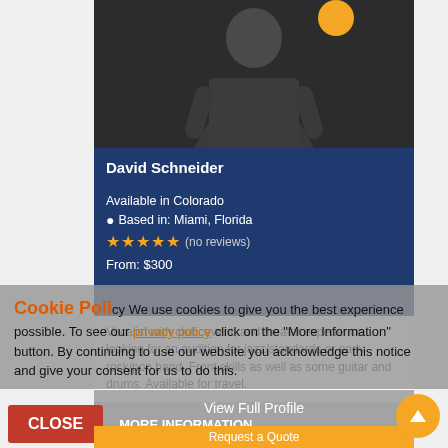[Figure (photo): Portrait of David Schneider, a man in dark clothing standing with arms crossed against a dark background]
David Schneider
Available in Colorado
Based in: Miami, Florida
★★★★★ (no reviews)
From: $300
Vocalist with club, event, and theater experience looking for an audition for jazz/standards or early rock/pop band. Front skills as well as some guitar and drums. Available for travel.
Cookie Policy
We use cookies to give you the best experience possible. To see our privacy policy click on the "More Information" button. By continuing to use our website you acknowledge this notice and give your consent for us to do this.
View Full Profile
CLOSE
MORE INFORMATION
Request a Quote